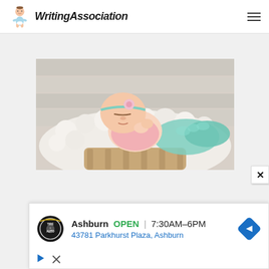WritingAssociation
[Figure (photo): Newborn baby sleeping in a wicker basket, dressed in a pink crocheted outfit and mint green mermaid tail, with a floral headband, lying on a white fluffy blanket against a whitewashed wood background.]
[Figure (infographic): Advertisement banner for Tire & Auto service in Ashburn. Shows business logo, OPEN status, hours 7:30AM-6PM, address 43781 Parkhurst Plaza Ashburn, and a blue diamond navigation arrow icon. Also includes small play/audio icon and close X icon.]